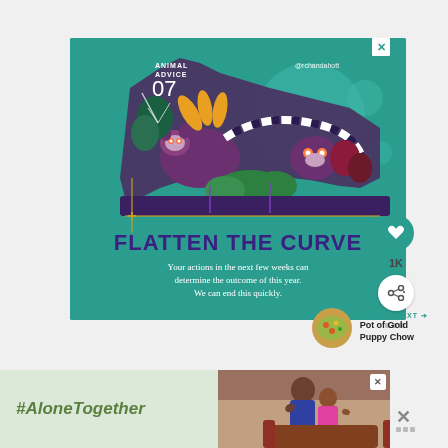[Figure (illustration): Social media post card with teal background showing illustrated animals (lemur, owls) in a nature scene forming a curve shape. Text reads 'ANIMAL ADVICE 07', '@rchandahott', 'FLATTEN THE CURVE', 'Your actions in the next few weeks can determine the outcome of this year. We can end this quickly.']
[Figure (infographic): Bottom advertisement banner with light green background showing '#AloneTogether' text and a photo of a man and child waving, with a close button]